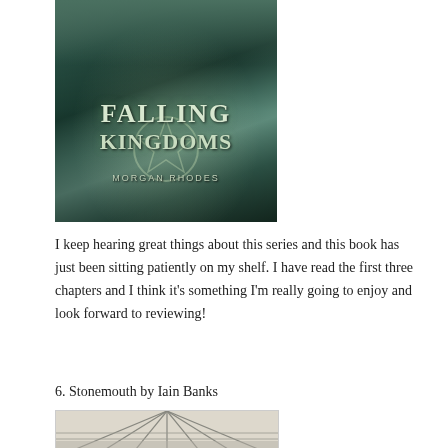[Figure (illustration): Book cover of 'Falling Kingdoms' by Morgan Rhodes — fantasy cover with teal/green tones featuring a figure and ornate emblem]
I keep hearing great things about this series and this book has just been sitting patiently on my shelf. I have read the first three chapters and I think it's something I'm really going to enjoy and look forward to reviewing!
6. Stonemouth by Iain Banks
[Figure (photo): Book cover of 'Stonemouth' by Iain Banks — appears to show a bridge or pier with converging lines in muted grey/sepia tones]